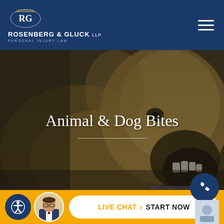Rosenberg & Gluck LLP — Personal Injury Law
[Figure (photo): Background hero photo of a barking golden/yellow dog with dark overlay]
Animal & Dog Bites
[Figure (infographic): Bottom bar with accessibility icon, attorney photo, Live Chat > Start Now button, phone icon, and small icon]
LIVE CHAT  START NOW